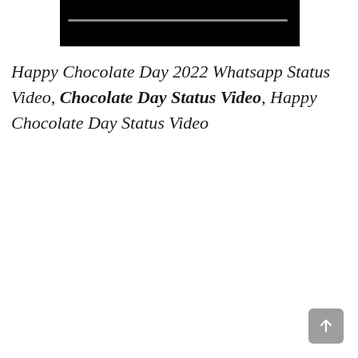[Figure (screenshot): Video thumbnail — black rectangle with a grey progress bar near the top]
Happy Chocolate Day 2022 Whatsapp Status Video, Chocolate Day Status Video, Happy Chocolate Day Status Video